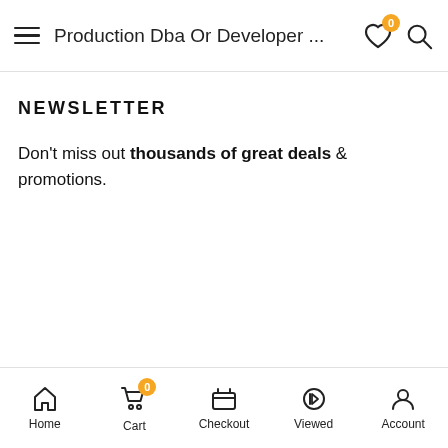Production Dba Or Developer ...
NEWSLETTER
Don't miss out thousands of great deals & promotions.
Home  Cart  Checkout  Viewed  Account